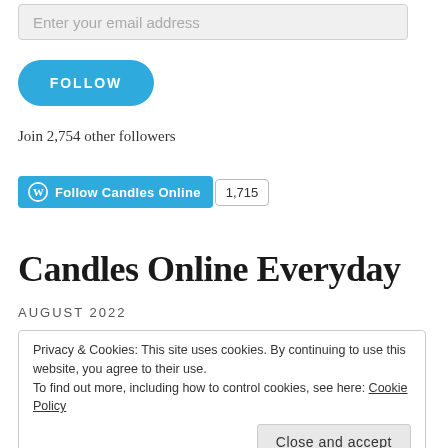Enter your email address
FOLLOW
Join 2,754 other followers
Follow Candles Online 1,715
Candles Online Everyday
AUGUST 2022
Privacy & Cookies: This site uses cookies. By continuing to use this website, you agree to their use.
To find out more, including how to control cookies, see here: Cookie Policy
Close and accept